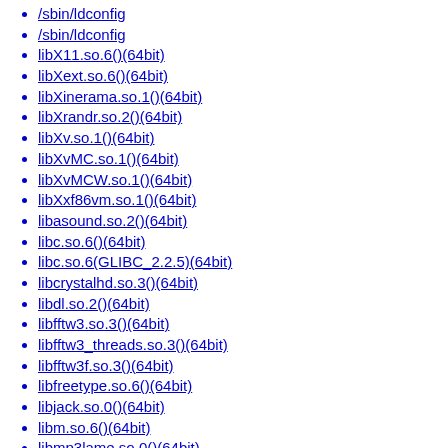/sbin/ldconfig
/sbin/ldconfig
libX11.so.6()(64bit)
libXext.so.6()(64bit)
libXinerama.so.1()(64bit)
libXrandr.so.2()(64bit)
libXv.so.1()(64bit)
libXvMC.so.1()(64bit)
libXvMCW.so.1()(64bit)
libXxf86vm.so.1()(64bit)
libasound.so.2()(64bit)
libc.so.6()(64bit)
libc.so.6(GLIBC_2.2.5)(64bit)
libcrystalhd.so.3()(64bit)
libdl.so.2()(64bit)
libfftw3.so.3()(64bit)
libfftw3_threads.so.3()(64bit)
libfftw3f.so.3()(64bit)
libfreetype.so.6()(64bit)
libjack.so.0()(64bit)
libm.so.6()(64bit)
libmp3lame.so.0()(64bit)
libmythavcore.so.0()(64bit)
libmythavutil.so.50()(64bit)
libmythavutil.so.50(LIBAVUTIL_50)(64bit)